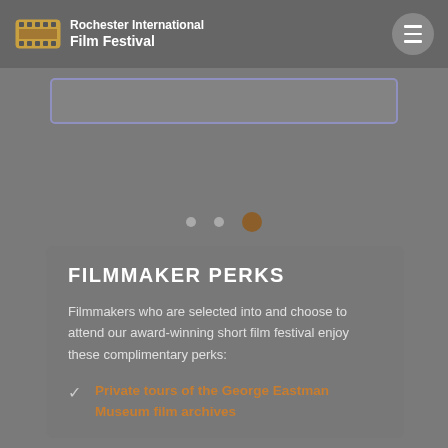[Figure (logo): Rochester International Film Festival logo with film strip icon and white text on gray background]
[Figure (other): Hamburger menu button - circular gray button with three white horizontal lines]
[Figure (other): Search input box with purple/lavender border]
[Figure (other): Carousel navigation dots: two small gray dots and one larger brown/active dot]
FILMMAKER PERKS
Filmmakers who are selected into and choose to attend our award-winning short film festival enjoy these complimentary perks:
Private tours of the George Eastman Museum film archives